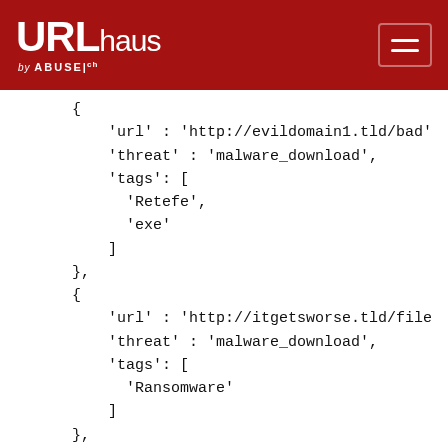URLhaus by ABUSE.ch
{
    'url' : 'http://evildomain1.tld/bad'
    'threat' : 'malware_download',
    'tags': [
      'Retefe',
      'exe'
    ]
},
{
    'url' : 'http://itgetsworse.tld/file
    'threat' : 'malware_download',
    'tags': [
      'Ransomware'
    ]
},
{
    'threat' : 'malware_download',
    'url' : 'http://swiss-cheese-is-the-
}